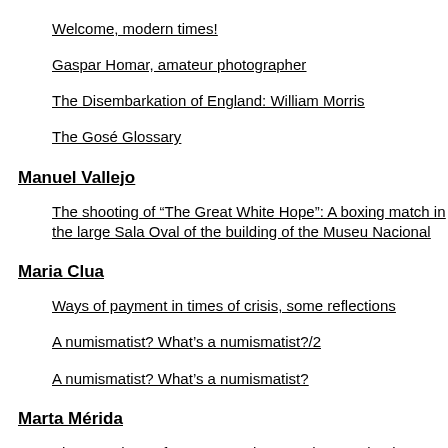Ricard Opisso: bittersweet memories and anecdotes of Gaudi
Welcome, modern times!
Gaspar Homar, amateur photographer
The Disembarkation of England: William Morris
The Gosé Glossary
Manuel Vallejo
The shooting of “The Great White Hope”: A boxing match in the large Sala Oval of the building of the Museu Nacional
Maria Clua
Ways of payment in times of crisis, some reflections
A numismatist? What’s a numismatist?/2
A numismatist? What’s a numismatist?
Marta Mérida
Photographers of museums, photographers and artists working in the